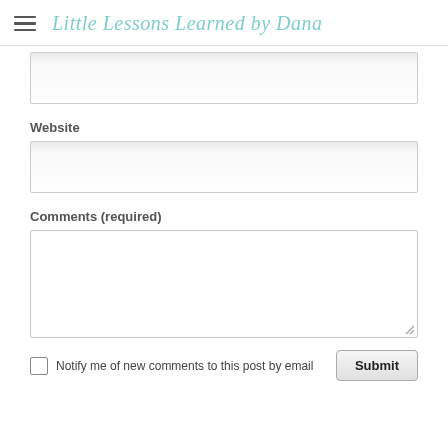Little Lessons Learned by Dana
[Figure (screenshot): Website form input field (empty text box)]
Website
[Figure (screenshot): Website URL input field (empty text box)]
Comments (required)
[Figure (screenshot): Comments textarea (empty, resizable)]
Notify me of new comments to this post by email
Submit